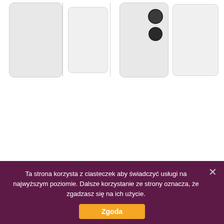[Figure (photo): Product images of white smartphones/devices. Left side shows two white phone outlines side by side. Right side shows a white phone with dual camera bumps (two dark circles) on the back.]
— Opis produktu
REALITY FEELS AT HOME
Ta strona korzysta z ciasteczek aby świadczyć usługi na najwyższym poziomie. Dalsze korzystanie ze strony oznacza, że zgadzasz się na ich użycie.